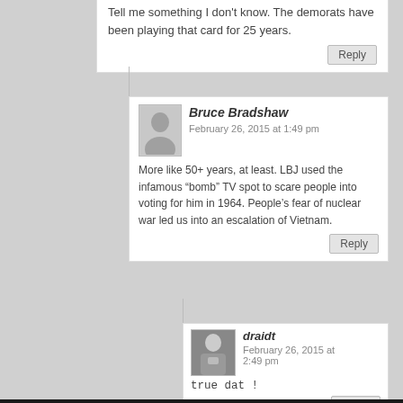Tell me something I don't know. The demorats have been playing that card for 25 years.
Bruce Bradshaw
February 26, 2015 at 1:49 pm
More like 50+ years, at least. LBJ used the infamous “bomb” TV spot to scare people into voting for him in 1964. People’s fear of nuclear war led us into an escalation of Vietnam.
draidt
February 26, 2015 at 2:49 pm
true dat !